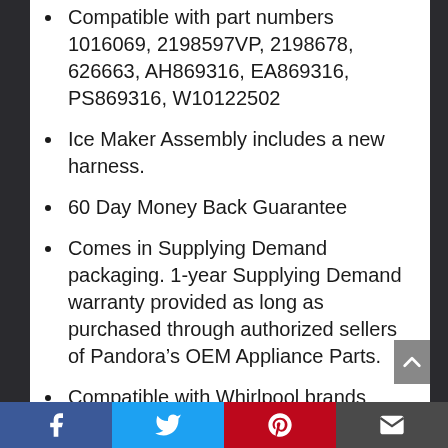Compatible with part numbers 1016069, 2198597VP, 2198678, 626663, AH869316, EA869316, PS869316, W10122502
Ice Maker Assembly includes a new harness.
60 Day Money Back Guarantee
Comes in Supplying Demand packaging. 1-year Supplying Demand warranty provided as long as purchased through authorized sellers of Pandora’s OEM Appliance Parts.
Compatible with Whirlpool brands